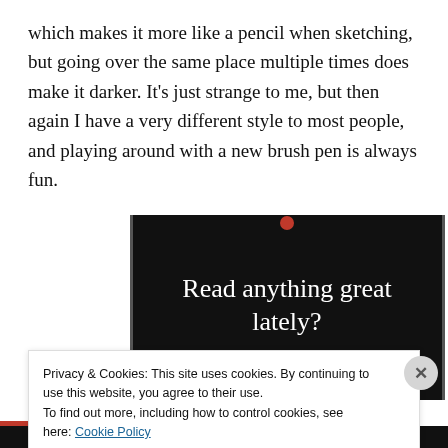which makes it more like a pencil when sketching, but going over the same place multiple times does make it darker. It's just strange to me, but then again I have a very different style to most people, and playing around with a new brush pen is always fun.
[Figure (screenshot): Dark promotional banner with white serif text 'Read anything great lately?' and a red 'Start reading' button on a black background with gray vertical accent lines.]
Privacy & Cookies: This site uses cookies. By continuing to use this website, you agree to their use.
To find out more, including how to control cookies, see here: Cookie Policy